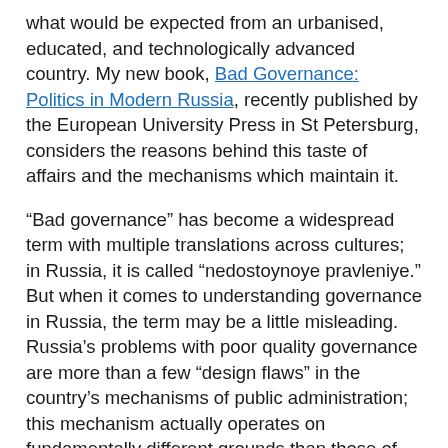what would be expected from an urbanised, educated, and technologically advanced country. My new book, Bad Governance: Politics in Modern Russia, recently published by the European University Press in St Petersburg, considers the reasons behind this taste of affairs and the mechanisms which maintain it.
“Bad governance” has become a widespread term with multiple translations across cultures; in Russia, it is called “nedostoynoye pravleniye.” But when it comes to understanding governance in Russia, the term may be a little misleading. Russia’s problems with poor quality governance are more than a few “design flaws” in the country’s mechanisms of public administration; this mechanism actually operates on fundamentally different grounds than those of the normative idea of “good governance” (the principles of which are implied to be “trust­worthy, reliable, impartial, un-corrupt and competent government institutions.”) This is because the dominant economic and political order of modern Russia is based on rent-seeking and corruption, which depends on poor quality state regulation and routine violations of the rule of law. This order is buttressed at all levels of the regime’s